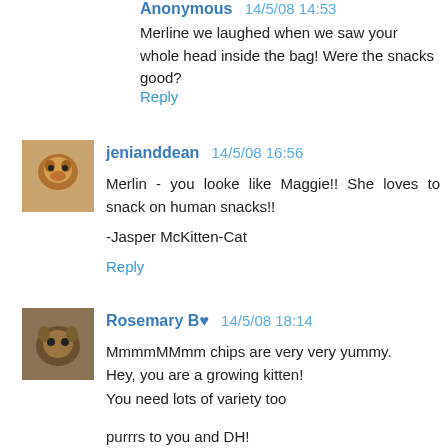Anonymous 14/5/08 14:53
Merline we laughed when we saw your whole head inside the bag! Were the snacks good?
Reply
jenianddean 14/5/08 16:56
Merlin - you looke like Maggie!! She loves to snack on human snacks!!

-Jasper McKitten-Cat
Reply
Rosemary B♥ 14/5/08 18:14
MmmmMMmm chips are very very yummy.
Hey, you are a growing kitten!
You need lots of variety too
purrrs to you and DH!